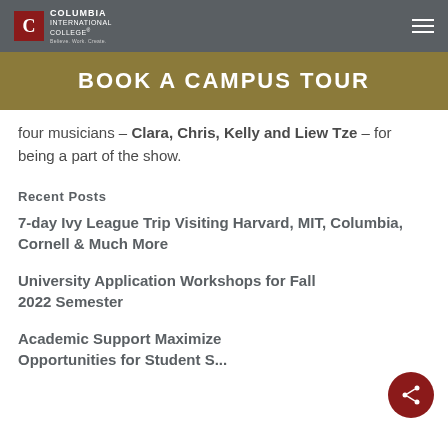Columbia International College
BOOK A CAMPUS TOUR
four musicians – Clara, Chris, Kelly and Liew Tze – for being a part of the show.
Recent Posts
7-day Ivy League Trip Visiting Harvard, MIT, Columbia, Cornell & Much More
University Application Workshops for Fall 2022 Semester
Academic Support Maximize Opportunities for Student S...